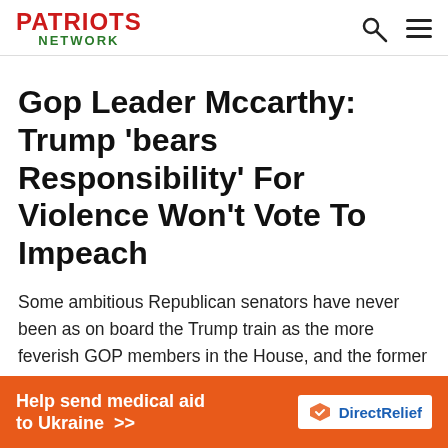PATRIOTS NETWORK
Gop Leader Mccarthy: Trump ‘bears Responsibility’ For Violence Won’t Vote To Impeach
Some ambitious Republican senators have never been as on board the Trump train as the more feverish GOP members in the House, and the former might be open to convicting Trump. But their ambition cuts two ways on the one hand, voting to ban Trump opens a lane to carry the Republican mantle in 2024 and be the party’s new standard-bearer, but
[Figure (infographic): Orange advertisement banner: 'Help send medical aid to Ukraine >>' with Direct Relief logo on right side]